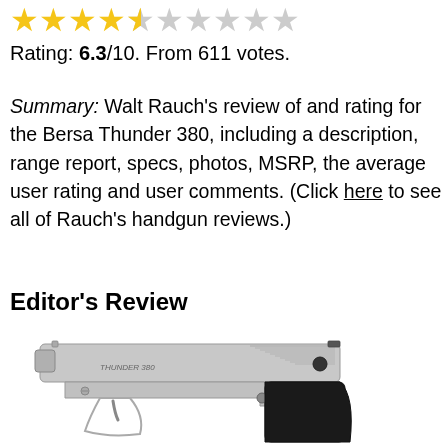[Figure (other): Star rating graphic showing 6.3 out of 10: approximately 4.5 gold stars followed by empty stars]
Rating: 6.3/10. From 611 votes.
Summary: Walt Rauch’s review of and rating for the Bersa Thunder 380, including a description, range report, specs, photos, MSRP, the average user rating and user comments. (Click here to see all of Rauch’s handgun reviews.)
Editor’s Review
[Figure (photo): Photo of a Bersa Thunder 380 semi-automatic pistol in nickel/silver finish with black grip, shown in profile view pointing left]